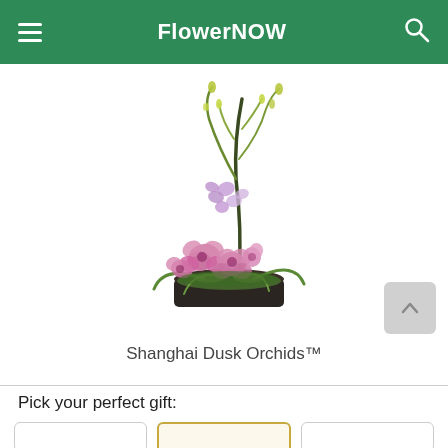FlowerNOW
[Figure (photo): Flower arrangement called Shanghai Dusk Orchids — pink and lavender orchid blooms with green stems in a dark rectangular container, with tall green branching stems rising above]
Shanghai Dusk Orchids™
Pick your perfect gift: